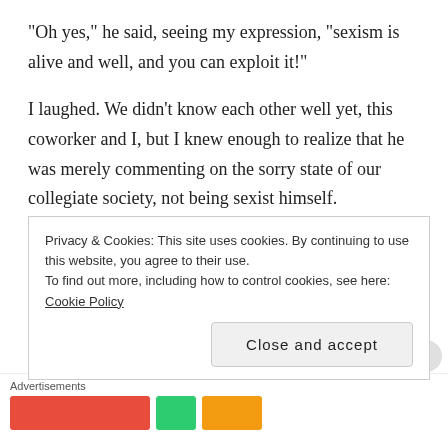“Oh yes,” he said, seeing my expression, “sexism is alive and well, and you can exploit it!”
I laughed.  We didn’t know each other well yet, this coworker and I, but I knew enough to realize that he was merely commenting on the sorry state of our collegiate society, not being sexist himself.
As I walked to the student union, I half-wanted to try out the experiment, just to see what would happen.  My coworker, however joking his tone, had a point.  I’ve joked with the Engineer before about using such tactics; whenever he worries
Privacy & Cookies: This site uses cookies. By continuing to use this website, you agree to their use.
To find out more, including how to control cookies, see here: Cookie Policy
Close and accept
Advertisements